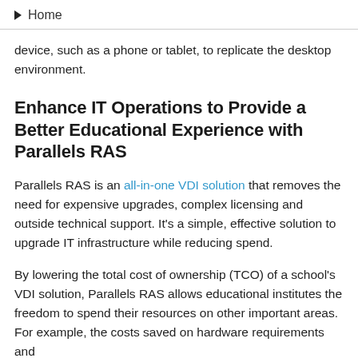Home
device, such as a phone or tablet, to replicate the desktop environment.
Enhance IT Operations to Provide a Better Educational Experience with Parallels RAS
Parallels RAS is an all-in-one VDI solution that removes the need for expensive upgrades, complex licensing and outside technical support. It's a simple, effective solution to upgrade IT infrastructure while reducing spend.
By lowering the total cost of ownership (TCO) of a school's VDI solution, Parallels RAS allows educational institutes the freedom to spend their resources on other important areas. For example, the costs saved on hardware requirements and